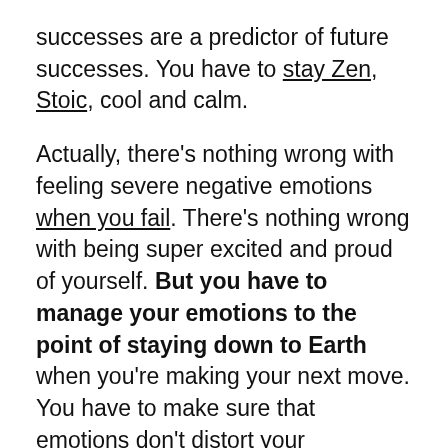successes are a predictor of future successes. You have to stay Zen, Stoic, cool and calm.
Actually, there's nothing wrong with feeling severe negative emotions when you fail. There's nothing wrong with being super excited and proud of yourself. But you have to manage your emotions to the point of staying down to Earth when you're making your next move. You have to make sure that emotions don't distort your subjective reality to the point where you don't see things as clearly as you should and where you start making